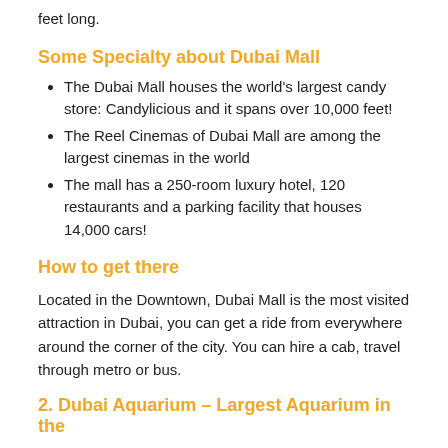feet long.
Some Specialty about Dubai Mall
The Dubai Mall houses the world's largest candy store: Candylicious and it spans over 10,000 feet!
The Reel Cinemas of Dubai Mall are among the largest cinemas in the world
The mall has a 250-room luxury hotel, 120 restaurants and a parking facility that houses 14,000 cars!
How to get there
Located in the Downtown, Dubai Mall is the most visited attraction in Dubai, you can get a ride from everywhere around the corner of the city. You can hire a cab, travel through metro or bus.
2. Dubai Aquarium – Largest Aquarium in the